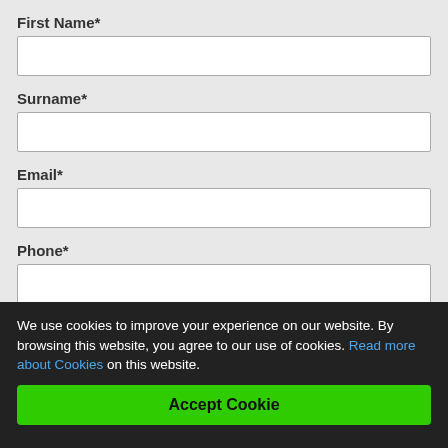First Name*
Surname*
Email*
Phone*
We use cookies to improve your experience on our website. By browsing this website, you agree to our use of cookies. Read more about Cookies on this website.
Accept Cookie